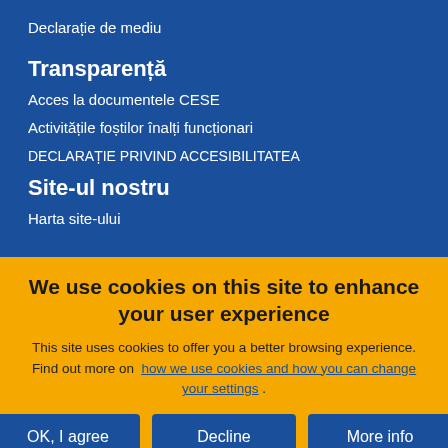Declarație de mediu
Transparență
Acces la documentele CESE
Activitățile foștilor înalți funcționari
DECLARAȚIE PRIVIND ACCESIBILITATEA
Site-ul nostru
Harta site-ului
We use cookies on this site to enhance your user experience
This site uses cookies to offer you a better browsing experience. Find out more on how we use cookies and how you can change your settings .
OK, I agree | Decline | More info